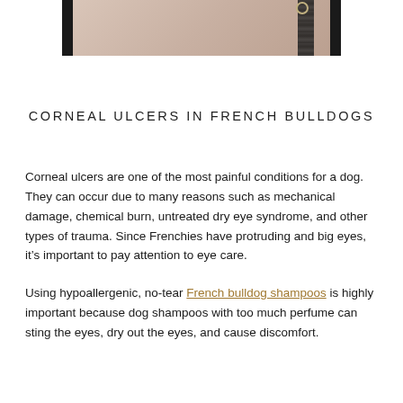[Figure (photo): Partial photo of a person holding a dog leash or rope, cropped at the top of the page showing skin and a dark rope/leash with a small ring/clasp visible]
CORNEAL ULCERS IN FRENCH BULLDOGS
Corneal ulcers are one of the most painful conditions for a dog. They can occur due to many reasons such as mechanical damage, chemical burn, untreated dry eye syndrome, and other types of trauma. Since Frenchies have protruding and big eyes, it's important to pay attention to eye care.
Using hypoallergenic, no-tear French bulldog shampoos is highly important because dog shampoos with too much perfume can sting the eyes, dry out the eyes, and cause discomfort.